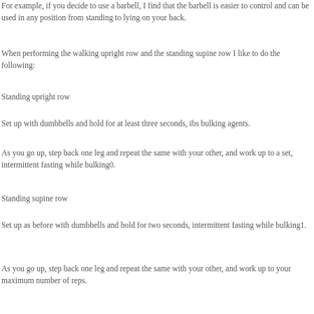For example, if you decide to use a barbell, I find that the barbell is easier to control and can be used in any position from standing to lying on your back.
When performing the walking upright row and the standing supine row I like to do the following:
Standing upright row
Set up with dumbbells and hold for at least three seconds, ibs bulking agents.
As you go up, step back one leg and repeat the same with your other, and work up to a set, intermittent fasting while bulking0.
Standing supine row
Set up as before with dumbbells and hold for two seconds, intermittent fasting while bulking1.
As you go up, step back one leg and repeat the same with your other, and work up to your maximum number of reps.